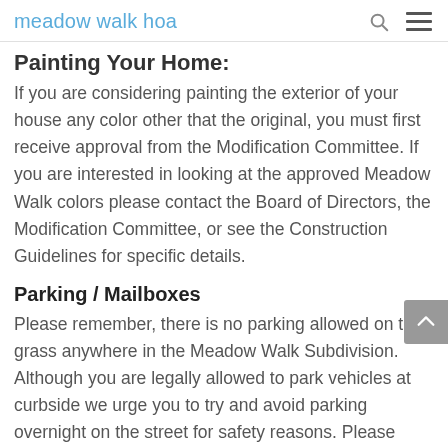meadow walk hoa
Painting Your Home:
If you are considering painting the exterior of your house any color other that the original, you must first receive approval from the Modification Committee. If you are interested in looking at the approved Meadow Walk colors please contact the Board of Directors, the Modification Committee, or see the Construction Guidelines for specific details.
Parking / Mailboxes
Please remember, there is no parking allowed on the grass anywhere in the Meadow Walk Subdivision. Although you are legally allowed to park vehicles at curbside we urge you to try and avoid parking overnight on the street for safety reasons. Please refer to the Meadow Walk By-